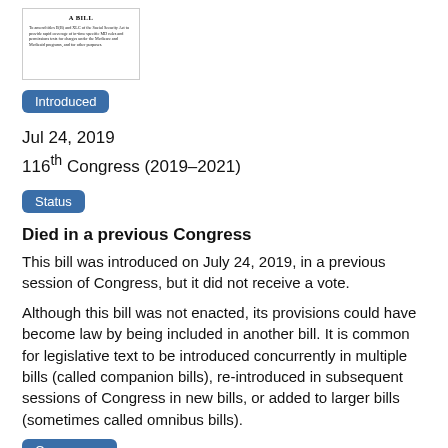[Figure (illustration): Thumbnail image of a bill document with 'A BILL' header text and body text in small serif font]
Introduced
Jul 24, 2019
116th Congress (2019–2021)
Status
Died in a previous Congress
This bill was introduced on July 24, 2019, in a previous session of Congress, but it did not receive a vote.
Although this bill was not enacted, its provisions could have become law by being included in another bill. It is common for legislative text to be introduced concurrently in multiple bills (called companion bills), re-introduced in subsequent sessions of Congress in new bills, or added to larger bills (sometimes called omnibus bills).
Cosponsors
6 Cosponsors (4 Democrats, 2 Republicans)